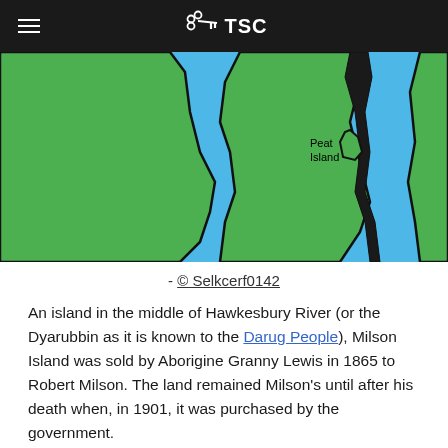TSC
[Figure (map): A cartoon-style map showing green landmasses on a blue water background. A label reads 'Peat Island' near the right side of the map. The map depicts part of the Hawkesbury River area.]
- © Selkcerf0142
An island in the middle of Hawkesbury River (or the Dyarubbin as it is known to the Darug People), Milson Island was sold by Aborigine Granny Lewis in 1865 to Robert Milson. The land remained Milson's until after his death when, in 1901, it was purchased by the government.